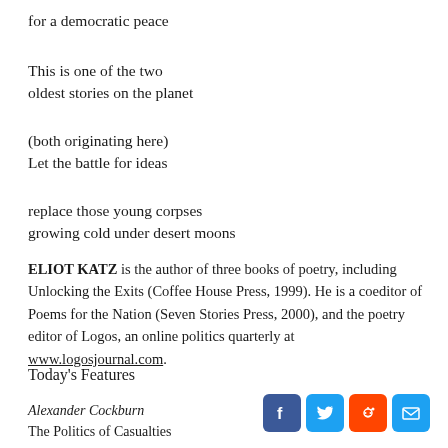for a democratic peace
This is one of the two
oldest stories on the planet
(both originating here)
Let the battle for ideas
replace those young corpses
growing cold under desert moons
ELIOT KATZ is the author of three books of poetry, including Unlocking the Exits (Coffee House Press, 1999). He is a coeditor of Poems for the Nation (Seven Stories Press, 2000), and the poetry editor of Logos, an online politics quarterly at www.logosjournal.com.
Today's Features
Alexander Cockburn
The Politics of Casualties
[Figure (infographic): Social media sharing icons: Facebook (blue), Twitter (blue), Reddit (orange-red), Email (blue)]